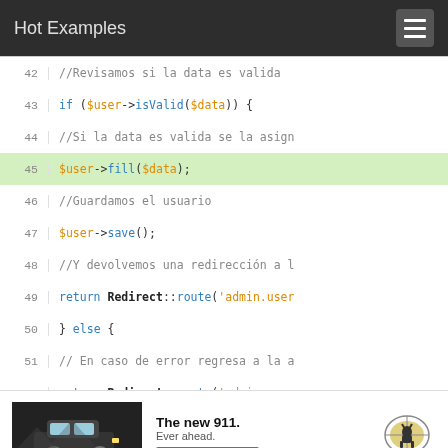Hot Examples
[Figure (screenshot): PHP code snippet with syntax highlighting showing lines 42-54 of a user update function. Line 45 is highlighted in green. Code includes if/else structure with $user->isValid($data), $user->fill($data), $user->save(), and Redirect::route('admin.user...) calls.]
[Figure (photo): Porsche advertisement showing 'The new 911. Ever ahead.' with an image of a Porsche car, a LEARN MORE button, and the Porsche logo.]